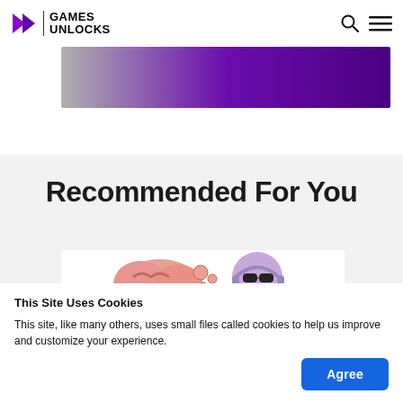GAMES UNLOCKS
[Figure (illustration): Gradient banner from gray to dark purple]
Recommended For You
[Figure (illustration): Cartoon brain and character with sunglasses and headphones illustration]
This Site Uses Cookies
This site, like many others, uses small files called cookies to help us improve and customize your experience.